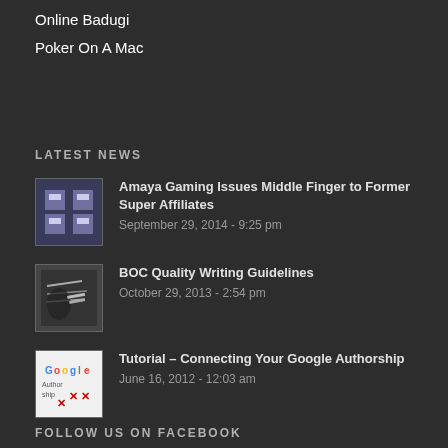Online Badugi
Poker On A Mac
LATEST NEWS
[Figure (illustration): Pixel art style image with cartoon characters]
Amaya Gaming Issues Middle Finger to Former Super Affiliates
September 29, 2014 - 9:25 pm
[Figure (photo): Black and white photo of a hand writing]
BOC Quality Writing Guidelines
October 29, 2013 - 2:54 pm
[Figure (logo): Google Authorship logo with x marks]
Tutorial – Connecting Your Google Authorship
June 16, 2012 - 12:03 am
FOLLOW US ON FACEBOOK